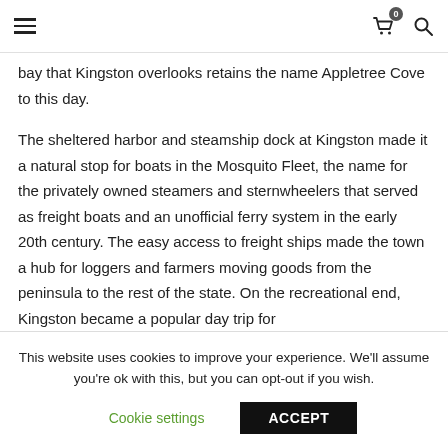Navigation header with hamburger menu, cart (0), and search icons
bay that Kingston overlooks retains the name Appletree Cove to this day.
The sheltered harbor and steamship dock at Kingston made it a natural stop for boats in the Mosquito Fleet, the name for the privately owned steamers and sternwheelers that served as freight boats and an unofficial ferry system in the early 20th century. The easy access to freight ships made the town a hub for loggers and farmers moving goods from the peninsula to the rest of the state. On the recreational end, Kingston became a popular day trip for
This website uses cookies to improve your experience. We'll assume you're ok with this, but you can opt-out if you wish. Cookie settings ACCEPT